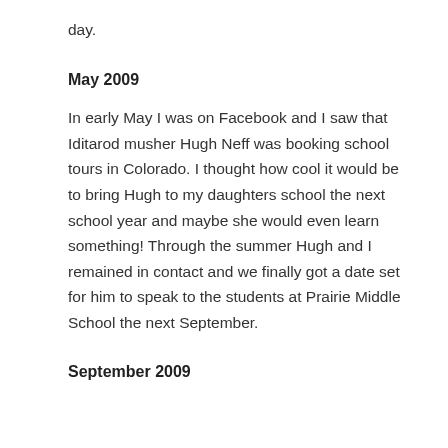day.
May 2009
In early May I was on Facebook and I saw that Iditarod musher Hugh Neff was booking school tours in Colorado. I thought how cool it would be to bring Hugh to my daughters school the next school year and maybe she would even learn something! Through the summer Hugh and I remained in contact and we finally got a date set for him to speak to the students at Prairie Middle School the next September.
September 2009